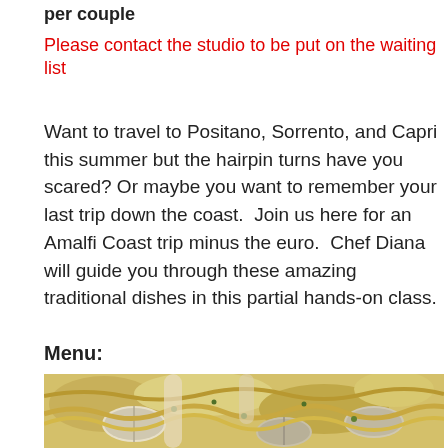per couple
Please contact the studio to be put on the waiting list
Want to travel to Positano, Sorrento, and Capri this summer but the hairpin turns have you scared? Or maybe you want to remember your last trip down the coast.  Join us here for an Amalfi Coast trip minus the euro.  Chef Diana will guide you through these amazing traditional dishes in this partial hands-on class.
Menu:
[Figure (photo): Close-up photo of pasta with clams (vongole) dish showing shells, noodles, and garnish]